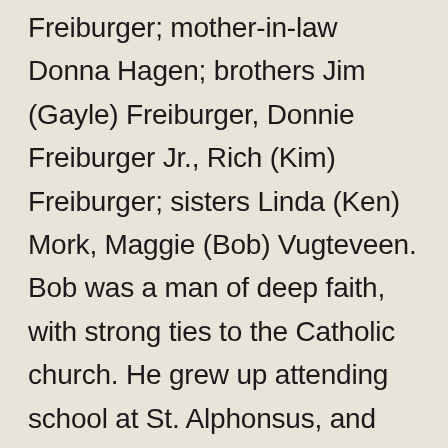Freiburger; mother-in-law Donna Hagen; brothers Jim (Gayle) Freiburger, Donnie Freiburger Jr., Rich (Kim) Freiburger; sisters Linda (Ken) Mork, Maggie (Bob) Vugteveen. Bob was a man of deep faith, with strong ties to the Catholic church. He grew up attending school at St. Alphonsus, and later Catholic Central, where he met his wife, Marsha. Bob and Marsha have been long time parishioners at the